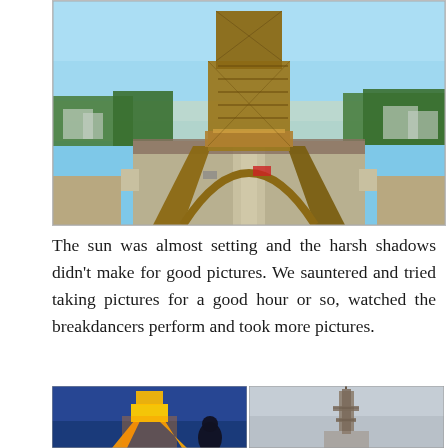[Figure (photo): Close-up photo of the base and middle section of the Eiffel Tower in Paris, taken during late afternoon. The iron lattice structure is prominently visible against a clear blue sky. Below the arch, a wide boulevard leads toward the Champ de Mars with crowds of tourists and city buildings in the background.]
The sun was almost setting and the harsh shadows didn't make for good pictures. We sauntered and tried taking pictures for a good hour or so, watched the breakdancers perform and took more pictures.
[Figure (photo): Two side-by-side photos at the bottom. Left: The Eiffel Tower illuminated in golden/orange light at dusk against a deep blue sky, with a person's silhouette visible in the foreground. Right: A distant view of the top portion of the Eiffel Tower against a light grey overcast sky.]